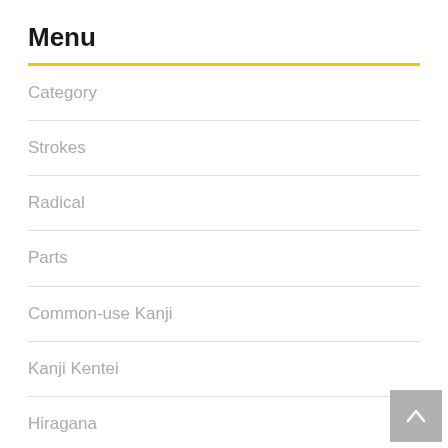Menu
Category
Strokes
Radical
Parts
Common-use Kanji
Kanji Kentei
Hiragana
Katakana